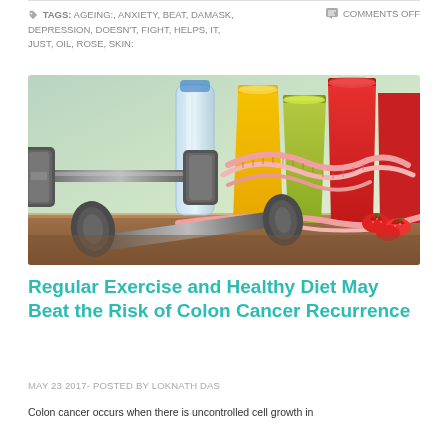TAGS: AGEING:, ANXIETY, BEAT, DAMASK, DEPRESSION, DOESN'T, FIGHT, HELPS, IT, JUST, OIL, ROSE, SKIN:
COMMENTS OFF
[Figure (photo): Dumbbells and colorful smoothie drinks with measuring tape wrapped around the glasses and strawberries on a wooden surface, representing fitness and healthy diet]
Regular Exercise and Healthy Diet May Beat the Risk of Colon Cancer Recurrence
MAY 23 2017- POSTED BY LOKNATH DAS
Colon cancer occurs when there is uncontrolled cell growth in